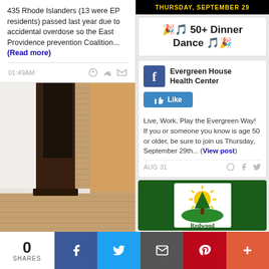435 Rhode Islanders (13 were EP residents) passed last year due to accidental overdose so the East Providence prevention Coalition... (Read more)
[Figure (photo): Indoor photo of a dark wood grandfather clock cabinet in a hallway with laminate wood flooring]
[Figure (photo): Dark background header image text: THURSDAY, SEPTEMBER 29]
🎉🎵 50+ Dinner Dance 🎵🎉
Evergreen House Health Center
Live, Work, Play the Evergreen Way! If you or someone you know is age 50 or older, be sure to join us Thursday, September 29th... (View post)
[Figure (logo): Redwood Garden Center & Nursery logo on dark green background — white box with yellow sun rays and green tree/hills]
0 SHARES | Facebook | Twitter | Email | Pinterest | More